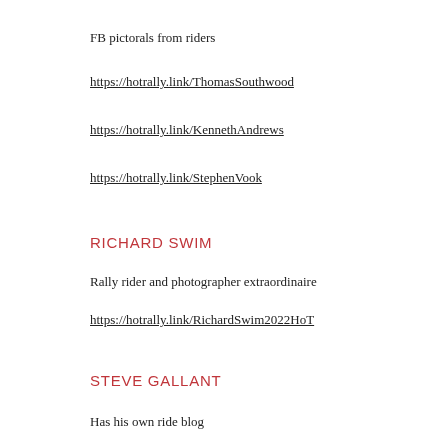FB pictorals from riders
https://hotrally.link/ThomasSouthwood
https://hotrally.link/KennethAndrews
https://hotrally.link/StephenVook
RICHARD SWIM
Rally rider and photographer extraordinaire
https://hotrally.link/RichardSwim2022HoT
STEVE GALLANT
Has his own ride blog